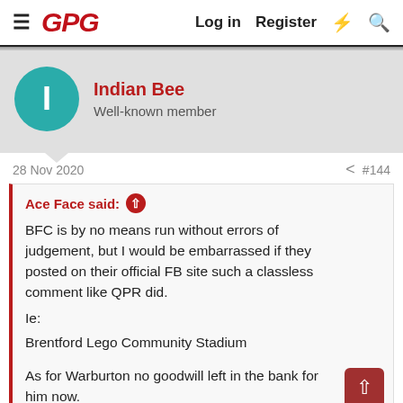GPG  Log in  Register
Indian Bee
Well-known member
28 Nov 2020  #144
Ace Face said: ↑
BFC is by no means run without errors of judgement, but I would be embarrassed if they posted on their official FB site such a classless comment like QPR did.
Ie:
Brentford Lego Community Stadium

As for Warburton no goodwill left in the bank for him now.
Agree completely was classless. It shouldn't but it really annoyed me.